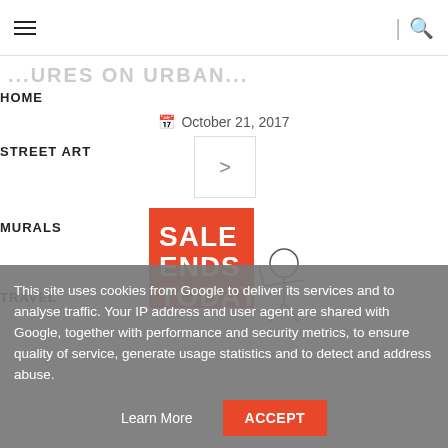≡  |  🔍
...URES ON URBAN...
HOME
October 21, 2017
STREET ART
[Figure (other): Navigation arrow button pointing right]
MURALS
[Figure (other): Sale Ends Today graphic with bold white text on red background and illustrated figure]
TRAVEL
This site uses cookies from Google to deliver its services and to analyse traffic. Your IP address and user agent are shared with Google, together with performance and security metrics, to ensure quality of service, generate usage statistics and to detect and address abuse.
Learn More   ACCEPT